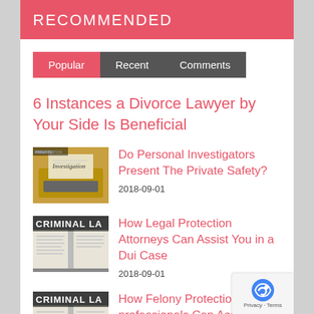RECOMMENDED
Popular
Recent
Comments
6 Instances a Divorce Lawyer by Your Side Is Beneficial
[Figure (photo): Typewriter with paper showing the word 'Investigation']
Do Personal Investigators Present The Private Safety?
2018-09-01
[Figure (photo): Open law books with text 'CRIMINAL LA' visible]
How Legal Protection Attorneys Can Assist You in a Dui Case
2018-09-01
[Figure (photo): Open law books with text 'CRIMINAL LA' visible]
How Felony Protection Legal professionals Can Assist You in a Dui Case